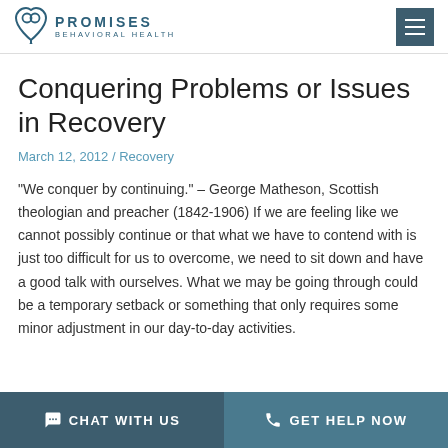PROMISES BEHAVIORAL HEALTH
Conquering Problems or Issues in Recovery
March 12, 2012 / Recovery
"We conquer by continuing." – George Matheson, Scottish theologian and preacher (1842-1906) If we are feeling like we cannot possibly continue or that what we have to contend with is just too difficult for us to overcome, we need to sit down and have a good talk with ourselves. What we may be going through could be a temporary setback or something that only requires some minor adjustment in our day-to-day activities.
CHAT WITH US  GET HELP NOW